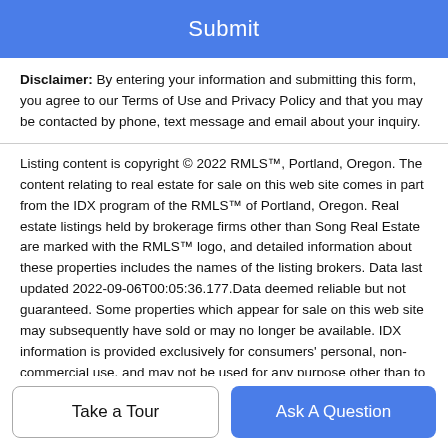[Figure (other): Blue Submit button at top of page]
Disclaimer: By entering your information and submitting this form, you agree to our Terms of Use and Privacy Policy and that you may be contacted by phone, text message and email about your inquiry.
Listing content is copyright © 2022 RMLS™, Portland, Oregon. The content relating to real estate for sale on this web site comes in part from the IDX program of the RMLS™ of Portland, Oregon. Real estate listings held by brokerage firms other than Song Real Estate are marked with the RMLS™ logo, and detailed information about these properties includes the names of the listing brokers. Data last updated 2022-09-06T00:05:36.177.Data deemed reliable but not guaranteed. Some properties which appear for sale on this web site may subsequently have sold or may no longer be available. IDX information is provided exclusively for consumers' personal, non-commercial use, and may not be used for any purpose other than to identify prospective properties consumers may be interested in purchasing. All information provided is deemed reliable but is not guaranteed accurate by RMLS™ or
[Figure (other): Take a Tour and Ask A Question buttons at bottom of page]